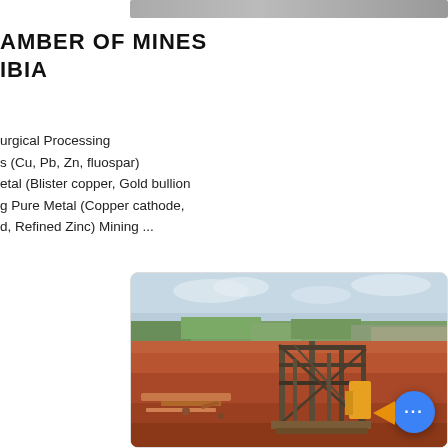CHAMBER OF MINES
NAMIBIA
urgical Processing
s (Cu, Pb, Zn, fluospar)
etal (Blister copper, Gold bullion
g Pure Metal (Copper cathode,
d, Refined Zinc) Mining ...
[Figure (photo): Aerial view of an open mining site with red laterite soil, scattered mining equipment and a structural frame/scaffold in the foreground, green vegetation and cloudy sky in the background. Zambia or Namibia mining operation.]